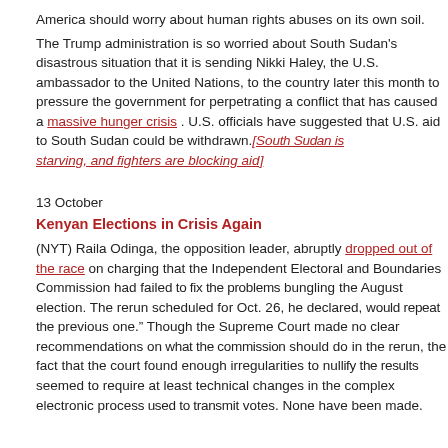America should worry about human rights abuses on its own soil.
The Trump administration is so worried about South Sudan's disastrous situation that it is sending Nikki Haley, the U.S. ambassador to the United Nations, to the country later this month to pressure the government for perpetrating a conflict that has caused a massive hunger crisis [link]. U.S. officials have suggested that U.S. aid to South Sudan could be withdrawn.[South Sudan is starving, and fighters are blocking aid]
13 October
Kenyan Elections in Crisis Again
(NYT) Raila Odinga, the opposition leader, abruptly dropped out of the race [link] on Thursday, charging that the Independent Electoral and Boundaries Commission had failed to fix the problems bungling the August election. The rerun scheduled for Oct. 26, he declared, would repeat the previous one.” Though the Supreme Court made no clear recommendations on what the commission should do in the rerun, the fact that the court found enough irregularities to nullify the results seemed to require at least technical changes in the complex electronic process used to transmit votes. None have been made.
1 September
(The Economist) Kenya's supreme court annulled the country's disputed presidential election, which took place on August 8th. The judges seem convinced that irregularities at